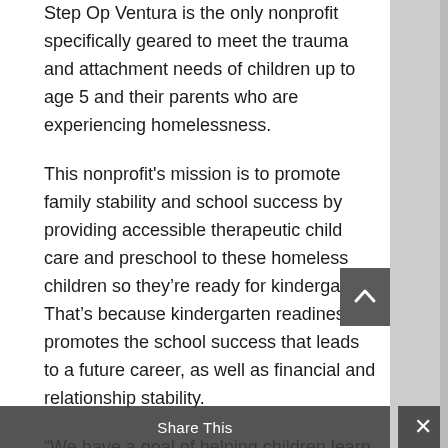Step Op Ventura is the only nonprofit specifically geared to meet the trauma and attachment needs of children up to age 5 and their parents who are experiencing homelessness.
This nonprofit's mission is to promote family stability and school success by providing accessible therapeutic child care and preschool to these homeless children so they're ready for kindergarten. That's because kindergarten readiness promotes the school success that leads to a future career, as well as financial and relationship stability.
“We have a goal of helping children learn, heal and connect — the end result being that they are kindergarten-ready socially, emotionally and